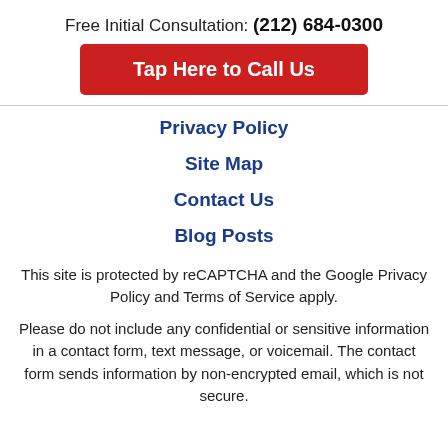Free Initial Consultation: (212) 684-0300
[Figure (other): Red button labeled 'Tap Here to Call Us']
Privacy Policy
Site Map
Contact Us
Blog Posts
This site is protected by reCAPTCHA and the Google Privacy Policy and Terms of Service apply.
Please do not include any confidential or sensitive information in a contact form, text message, or voicemail. The contact form sends information by non-encrypted email, which is not secure.